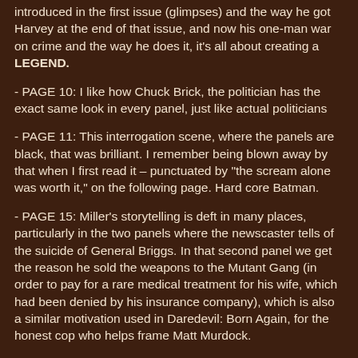introduced in the first issue (glimpses) and the way he got Harvey at the end of that issue, and now his one-man war on crime and the way he does it, it's all about creating a LEGEND.
- PAGE 10: I like how Chuck Brick, the politician has the exact same look in every panel, just like actual politicians
- PAGE 11: This interrogation scene, where the panels are black, that was brilliant. I remember being blown away by that when I first read it – punctuated by "the scream alone was worth it," on the following page. Hard core Batman.
- PAGE 15: Miller's storytelling is deft in many places, particularly in the two panels where the newscaster tells of the suicide of General Briggs. In that second panel we get the reason he sold the weapons to the Mutant Gang (in order to pay for a rare medical treatment for his wife, which had been denied by his insurance company), which is also a similar motivation used in Daredevil: Born Again, for the honest cop who helps frame Matt Murdock.